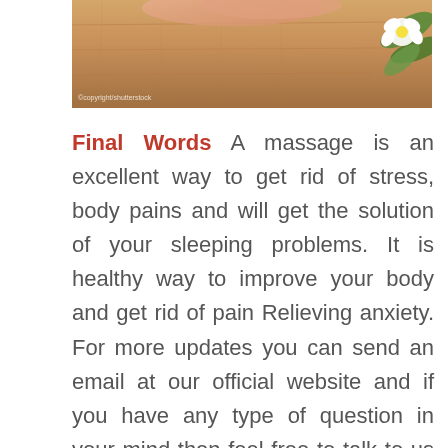[Figure (photo): A massage table scene with warm wooden tones and a white flower with green leaves visible in the upper right corner. A watermark is visible in the lower left of the image.]
Final Words A massage is an excellent way to get rid of stress, body pains and will get the solution of your sleeping problems. It is healthy way to improve your body and get rid of pain Relieving anxiety. For more updates you can send an email at our official website and if you have any type of question in your mind then feel free to talk to us and our most educated and talented person will guide you and will suggest you with the most Male To Male Body Massage in Delhi for your body.